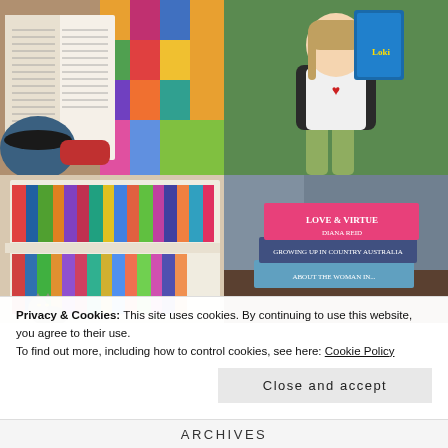[Figure (photo): Top-left: Open book with text pages and a blue coffee mug, colorful quilt in background, person's hand with red glove]
[Figure (photo): Top-right: Young girl holding a book titled 'Loki', wearing white t-shirt with heart and teacup design, green pants, outdoors]
[Figure (photo): Bottom-left: Bookshelf filled with colorful books, a cat peeking from the bottom shelf]
[Figure (photo): Bottom-right: Stack of books including 'Love & Virtue' by Diana Reid (pink cover), 'Growing Up in Country Australia', and others on a table]
Privacy & Cookies: This site uses cookies. By continuing to use this website, you agree to their use.
To find out more, including how to control cookies, see here: Cookie Policy
Close and accept
ARCHIVES